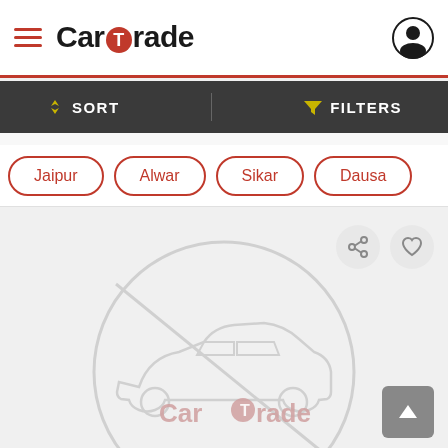CarTrade
[Figure (screenshot): CarTrade mobile app interface showing sort/filter toolbar, city filter pills (Jaipur, Alwar, Sikar, Dausa), and a car listing card with CarTrade watermark placeholder image]
Jaipur
Alwar
Sikar
Dausa